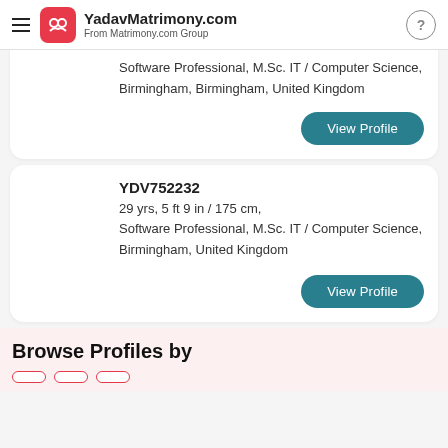YadavMatrimony.com — From Matrimony.com Group
Software Professional, M.Sc. IT / Computer Science, Birmingham, Birmingham, United Kingdom
View Profile
YDV752232
29 yrs, 5 ft 9 in / 175 cm, Software Professional, M.Sc. IT / Computer Science, Birmingham, United Kingdom
View Profile
Browse Profiles by